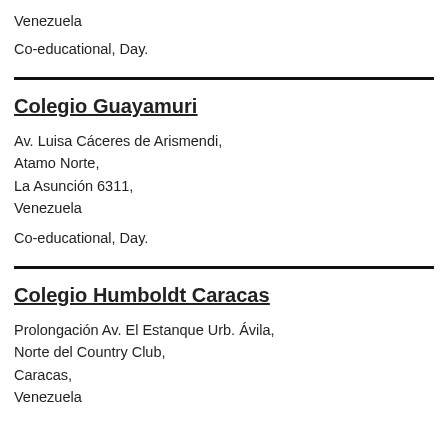Venezuela
Co-educational, Day.
Colegio Guayamuri
Av. Luisa Cáceres de Arismendi,
Atamo Norte,
La Asunción 6311,
Venezuela
Co-educational, Day.
Colegio Humboldt Caracas
Prolongación Av. El Estanque Urb. Ávila,
Norte del Country Club,
Caracas,
Venezuela